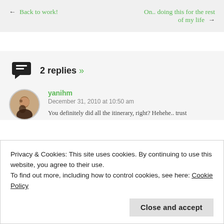← Back to work!
On.. doing this for the rest of my life →
2 replies »
yanihm
December 31, 2010 at 10:50 am
You definitely did all the itinerary, right? Hehehe.. trust
Privacy & Cookies: This site uses cookies. By continuing to use this website, you agree to their use.
To find out more, including how to control cookies, see here: Cookie Policy
Close and accept